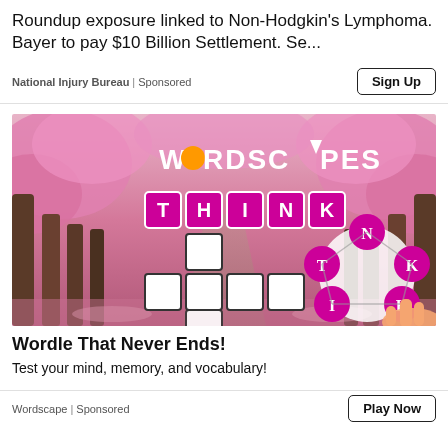Roundup exposure linked to Non-Hodgkin's Lymphoma. Bayer to pay $10 Billion Settlement. Se...
National Injury Bureau | Sponsored
[Figure (screenshot): Wordscapes mobile game advertisement showing cherry blossom tree tunnel background with THINK letter tiles, a word puzzle grid, and a letter wheel showing N, T, K, I, H letters]
Wordle That Never Ends!
Test your mind, memory, and vocabulary!
Wordscape | Sponsored